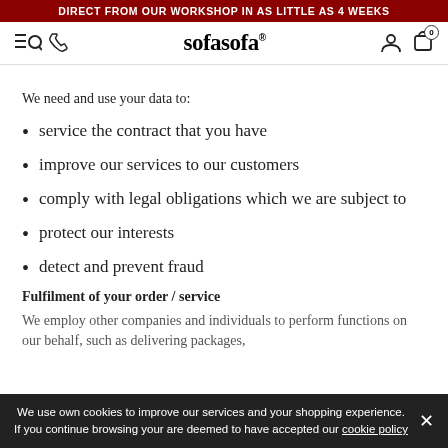DIRECT FROM OUR WORKSHOP IN AS LITTLE AS 4 WEEKS
[Figure (logo): sofasofa logo with navigation icons: hamburger+search, phone, brand name, user account, shopping cart with badge 0]
We need and use your data to:
service the contract that you have
improve our services to our customers
comply with legal obligations which we are subject to
protect our interests
detect and prevent fraud
Fulfilment of your order / service
We employ other companies and individuals to perform functions on our behalf, such as delivering packages,
We use own cookies to improve our services and your shopping experience. If you continue browsing your are deemed to have accepted our cookie policy